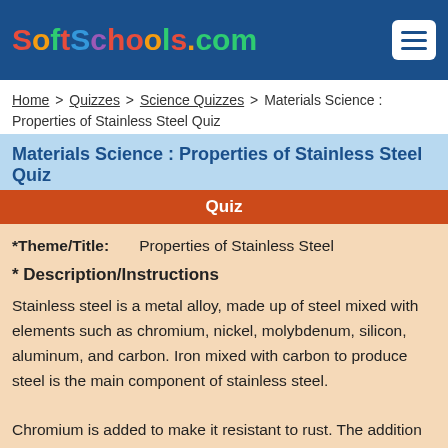SoftSchools.com
Home > Quizzes > Science Quizzes > Materials Science : Properties of Stainless Steel Quiz
Materials Science : Properties of Stainless Steel Quiz
Quiz
*Theme/Title:    Properties of Stainless Steel
* Description/Instructions
Stainless steel is a metal alloy, made up of steel mixed with elements such as chromium, nickel, molybdenum, silicon, aluminum, and carbon. Iron mixed with carbon to produce steel is the main component of stainless steel.
Chromium is added to make it resistant to rust. The addition of nickel enhances corrosion resistance